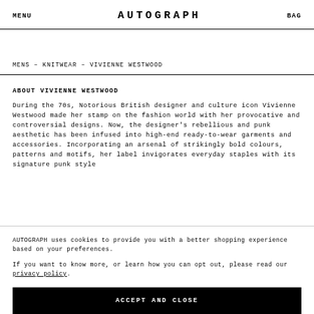MENU   AUTOGRAPH   BAG
MENS – KNITWEAR – VIVIENNE WESTWOOD
ABOUT VIVIENNE WESTWOOD
During the 70s, Notorious British designer and culture icon Vivienne Westwood made her stamp on the fashion world with her provocative and controversial designs. Now, the designer's rebellious and punk aesthetic has been infused into high-end ready-to-wear garments and accessories. Incorporating an arsenal of strikingly bold colours, patterns and motifs, her label invigorates everyday staples with its signature punk style
AUTOGRAPH uses cookies to provide you with a better shopping experience based on your preferences.
If you want to know more, or learn how you can opt out, please read our privacy policy.
ACCEPT AND CLOSE